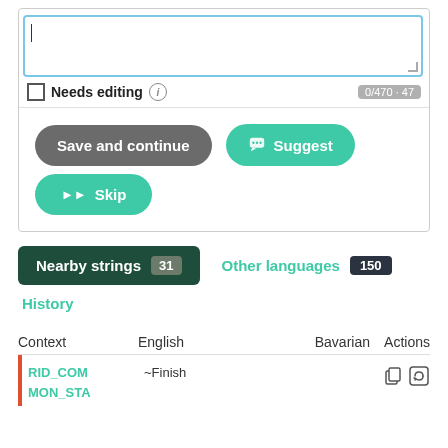[Figure (screenshot): Translation editor interface showing a text area with cursor, Needs editing checkbox, character counter showing 0/470·47, Save and continue button (gray), Suggest button (teal), Skip button (teal), Nearby strings tab (31), Other languages tab (150), History link, and a table with columns Context, English, Bavarian, Actions containing a row with RID_COM MON_STA and ~Finish]
Needs editing
0/470 · 47
Save and continue
Suggest
Skip
Nearby strings 31
Other languages 150
History
| Context | English | Bavarian | Actions |
| --- | --- | --- | --- |
| RID_COM MON_STA | ~Finish |  |  |